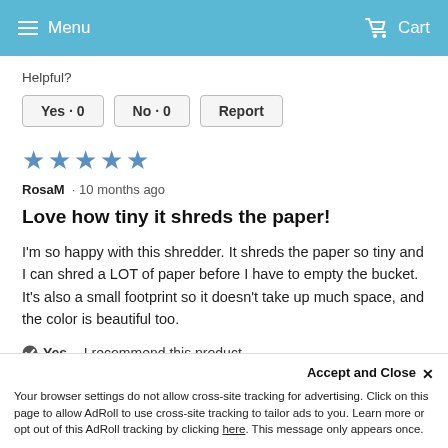Menu   Cart
Helpful?
Yes · 0   No · 0   Report
[Figure (other): 5 filled star icons indicating a 5-star rating]
RosaM · 10 months ago
Love how tiny it shreds the paper!
I'm so happy with this shredder. It shreds the paper so tiny and I can shred a LOT of paper before I have to empty the bucket. It's also a small footprint so it doesn't take up much space, and the color is beautiful too.
Yes, I recommend this product.
Accept and Close ✕
Your browser settings do not allow cross-site tracking for advertising. Click on this page to allow AdRoll to use cross-site tracking to tailor ads to you. Learn more or opt out of this AdRoll tracking by clicking here. This message only appears once.